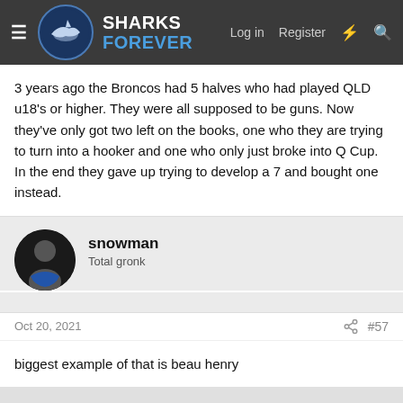Sharks Forever — Log in  Register
3 years ago the Broncos had 5 halves who had played QLD u18's or higher. They were all supposed to be guns. Now they've only got two left on the books, one who they are trying to turn into a hooker and one who only just broke into Q Cup. In the end they gave up trying to develop a 7 and bought one instead.
snowman
Total gronk
Oct 20, 2021	#57
biggest example of that is beau henry

had aruably the best ever 20's season and played under 20 first grade games